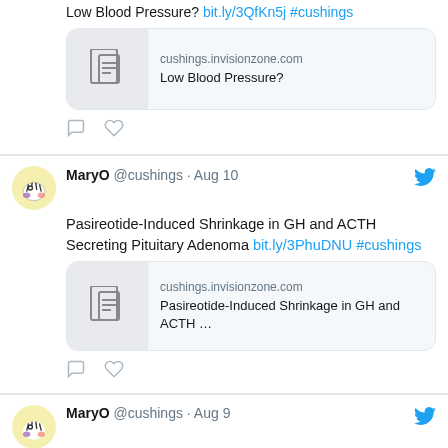Low Blood Pressure? bit.ly/3QfKn5j #cushings
[Figure (screenshot): Link card for cushings.invisionzone.com showing 'Low Blood Pressure?']
MaryO @cushings · Aug 10 — Pasireotide-Induced Shrinkage in GH and ACTH Secreting Pituitary Adenoma bit.ly/3PhuDNU #cushings
[Figure (screenshot): Link card for cushings.invisionzone.com showing 'Pasireotide-Induced Shrinkage in GH and ACTH ...']
MaryO @cushings · Aug 9